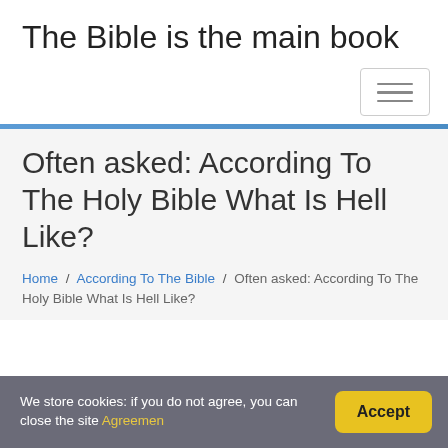The Bible is the main book
Often asked: According To The Holy Bible What Is Hell Like?
Home / According To The Bible / Often asked: According To The Holy Bible What Is Hell Like?
We store cookies: if you do not agree, you can close the site Agreemen